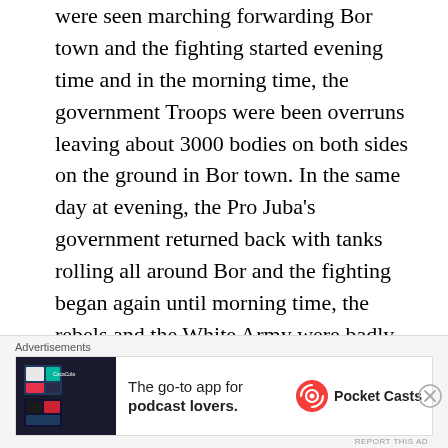were seen marching forwarding Bor town and the fighting started evening time and in the morning time, the government Troops were been overruns leaving about 3000 bodies on both sides on the ground in Bor town. In the same day at evening, the Pro Juba's government returned back with tanks rolling all around Bor and the fighting began again until morning time, the rebels and the White Army were badly killed and people were suggesting maybe 6000 soldiers were left deaths in Bor town on both sides rebels and the government and the rebels abandoned that capital of Jonglei State,
Advertisements
[Figure (other): Advertisement banner for Pocket Casts app: 'The go-to app for podcast lovers.' with Pocket Casts logo]